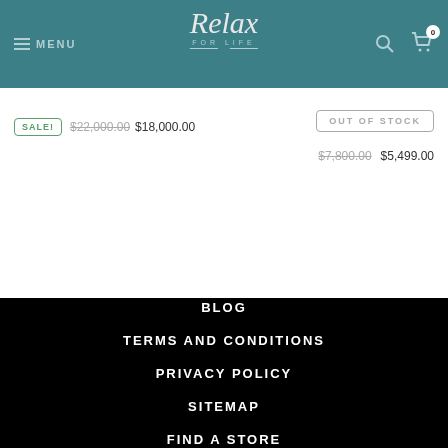MENU | Relax FOR LIFE | [search] [cart 0]
SALE! $22,000.00 $18,000.00
OUT OF STOCK $7,800.00 $5,499.00
BLOG
TERMS AND CONDITIONS
PRIVACY POLICY
SITEMAP
FIND A STORE